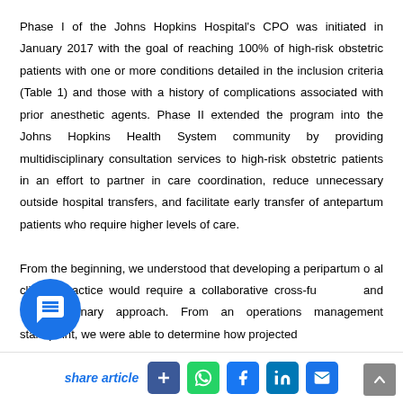Phase I of the Johns Hopkins Hospital's CPO was initiated in January 2017 with the goal of reaching 100% of high-risk obstetric patients with one or more conditions detailed in the inclusion criteria (Table 1) and those with a history of complications associated with prior anesthetic agents. Phase II extended the program into the Johns Hopkins Health System community by providing multidisciplinary consultation services to high-risk obstetric patients in an effort to partner in care coordination, reduce unnecessary outside hospital transfers, and facilitate early transfer of antepartum patients who require higher levels of care.

From the beginning, we understood that developing a peripartum o[r]al clinical practice would require a collaborative cross-fu[nctional] and multidisciplinary approach. From an operations management standpoint, we were able to determine how projected
share article